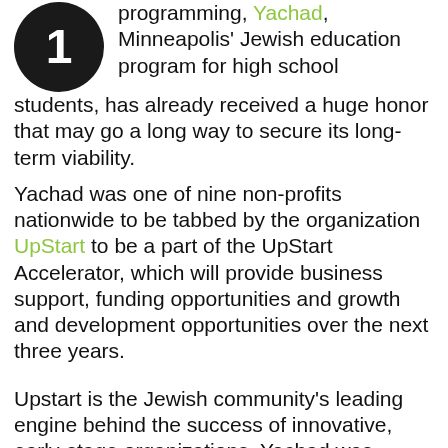programming, Yachad, Minneapolis' Jewish education program for high school students, has already received a huge honor that may go a long way to secure its long-term viability.
Yachad was one of nine non-profits nationwide to be tabbed by the organization UpStart to be a part of the UpStart Accelerator, which will provide business support, funding opportunities and growth and development opportunities over the next three years.
Upstart is the Jewish community's leading engine behind the success of innovative, early-stage organizations. Yachad was selected from 66 global applicants, the largest pool UpStart selected from. Yachad will join a cohort of eight other organizations that are opening up access points to Jewish life.